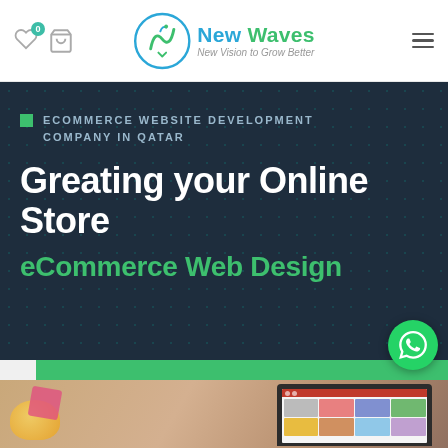New Waves — New Vision to Grow Better
ECOMMERCE WEBSITE DEVELOPMENT COMPANY IN QATAR
Greating your Online Store
eCommerce Web Design
[Figure (screenshot): Photo of a laptop showing an eCommerce website with product grid, displayed on a wooden surface with colorful objects in the foreground]